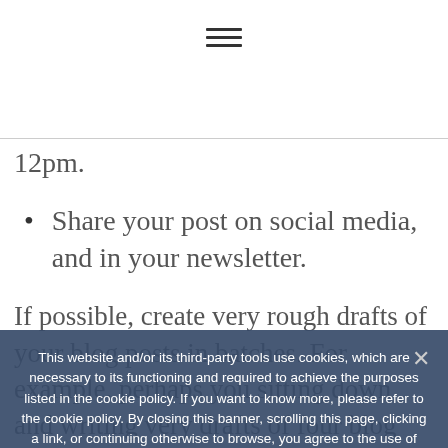[Figure (other): Hamburger menu icon (three horizontal lines)]
12pm.
Share your post on social media, and in your newsletter.
If possible, create very rough drafts of your blog posts in batches. For example, perhaps you sitting down and writing very drafts of four blog posts for the coming
This website and/or its third-party tools use cookies, which are necessary to its functioning and required to achieve the purposes listed in the cookie policy. If you want to know more, please refer to the cookie policy. By closing this banner, scrolling this page, clicking a link, or continuing otherwise to browse, you agree to the use of cookies.